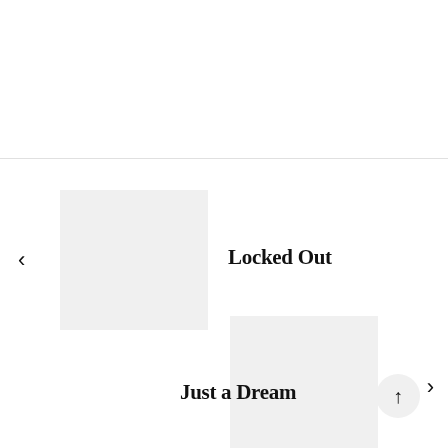[Figure (illustration): Horizontal divider line separating upper and lower sections]
<
[Figure (illustration): Light gray square thumbnail placeholder for Locked Out]
Locked Out
[Figure (illustration): Light gray square thumbnail placeholder for Just a Dream]
Just a Dream
>
[Figure (illustration): Circular up-arrow button]